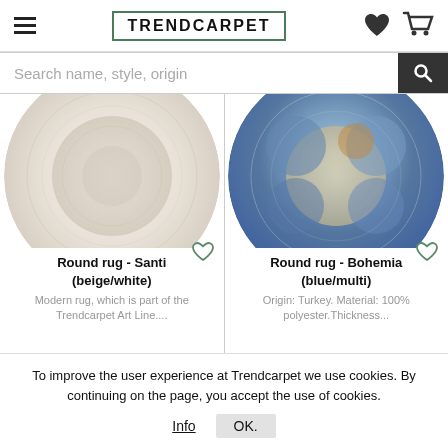TRENDCARPET
Search name, style, origin
[Figure (photo): Round rug - Santi beige/white, circular rug with medallion pattern in cream tones]
[Figure (photo): Round rug - Bohemia blue/multi, circular rug with ornate medallion pattern in blue and multicolor tones]
Round rug - Santi (beige/white)
Modern rug, which is part of the Trendcarpet Art Line....
Round rug - Bohemia (blue/multi)
Origin: Turkey. Material: 100% polyester.Thickness...
To improve the user experience at Trendcarpet we use cookies. By continuing on the page, you accept the use of cookies.